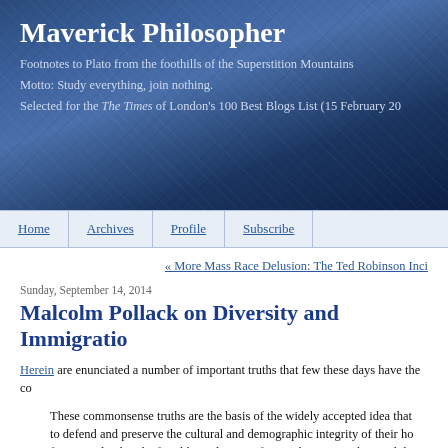Maverick Philosopher
Footnotes to Plato from the foothills of the Superstition Mountains
Motto: Study everything, join nothing.
Selected for the The Times of London's 100 Best Blogs List (15 February 20...
Home | Archives | Profile | Subscribe
« More Mass Race Delusion: The Ted Robinson Inci...
Sunday, September 14, 2014
Malcolm Pollack on Diversity and Immigratio...
Herein are enunciated a number of important truths that few these days have the co...
These commonsense truths are the basis of the widely accepted idea that ... to defend and preserve the cultural and demographic integrity of their ho... for example, that the forcible settlement of Han Chinese in Tibet, and th... culture, is conducive to the happiness of the Tibetans.
There is a curious blindness, however, on the part of the educated elites ... obvious principles, the generality of which should be entirely and unco... mind, might in fact apply to Western peoples and homelands. Can any...